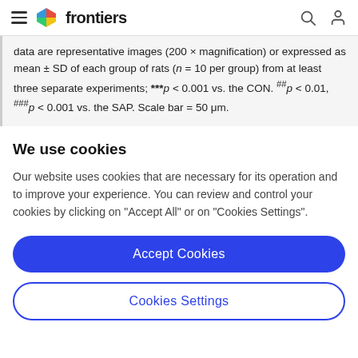frontiers
data are representative images (200 × magnification) or expressed as mean ± SD of each group of rats (n = 10 per group) from at least three separate experiments; ***p < 0.001 vs. the CON. ##p < 0.01, ###p < 0.001 vs. the SAP. Scale bar = 50 μm.
We use cookies
Our website uses cookies that are necessary for its operation and to improve your experience. You can review and control your cookies by clicking on "Accept All" or on "Cookies Settings".
Accept Cookies
Cookies Settings